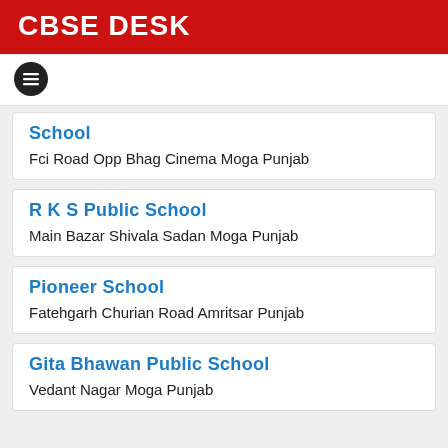CBSE DESK
School
Fci Road Opp Bhag Cinema Moga Punjab
R K S Public School
Main Bazar Shivala Sadan Moga Punjab
Pioneer School
Fatehgarh Churian Road Amritsar Punjab
Gita Bhawan Public School
Vedant Nagar Moga Punjab